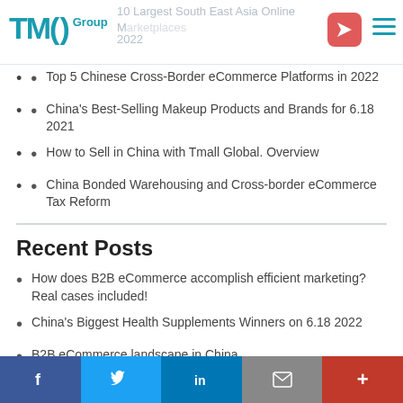TMO Group | 10 Largest South East Asia Online Marketplaces 2022
Top 5 Chinese Cross-Border eCommerce Platforms in 2022
China's Best-Selling Makeup Products and Brands for 6.18 2021
How to Sell in China with Tmall Global. Overview
China Bonded Warehousing and Cross-border eCommerce Tax Reform
Recent Posts
How does B2B eCommerce accomplish efficient marketing? Real cases included!
China's Biggest Health Supplements Winners on 6.18 2022
B2B eCommerce landscape in China
f  Twitter  in  Email  +